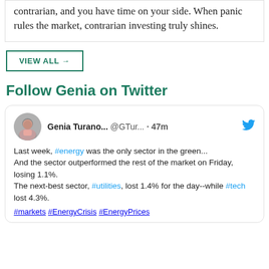contrarian, and you have time on your side. When panic rules the market, contrarian investing truly shines.
VIEW ALL →
Follow Genia on Twitter
Genia Turano... @GTur... · 47m
Last week, #energy was the only sector in the green...
And the sector outperformed the rest of the market on Friday, losing 1.1%.
The next-best sector, #utilities, lost 1.4% for the day--while #tech lost 4.3%.
#markets #EnergyCrisis #EnergyPrices